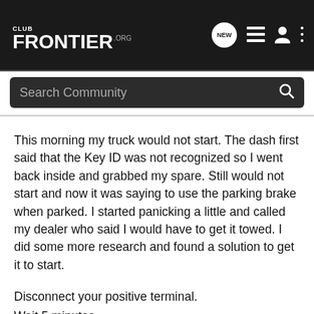CLUB FRONTIER.ORG
This morning my truck would not start. The dash first said that the Key ID was not recognized so I went back inside and grabbed my spare. Still would not start and now it was saying to use the parking brake when parked. I started panicking a little and called my dealer who said I would have to get it towed. I did some more research and found a solution to get it to start.
Disconnect your positive terminal.
Wait 5 minutes
Connect the positive terminal.
Jump Start Your truck.
I'm at the dealer now, but from most of my research it's looking like a transmission module is the culprit. I'm hoping this is not